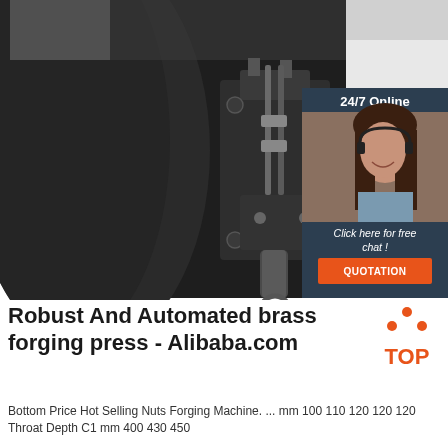[Figure (photo): Industrial brass forging press machine photographed close-up, dark metallic surfaces with bolts, tubes, and mechanical components visible. Overlaid in the lower-right corner is a '24/7 Online' customer service chat widget showing a smiling female agent with a headset, a 'Click here for free chat!' message, and an orange QUOTATION button.]
Robust And Automated brass forging press - Alibaba.com
Bottom Price Hot Selling Nuts Forging Machine. ... mm 100 110 120 120 120 Throat Depth C1 mm 400 430 450